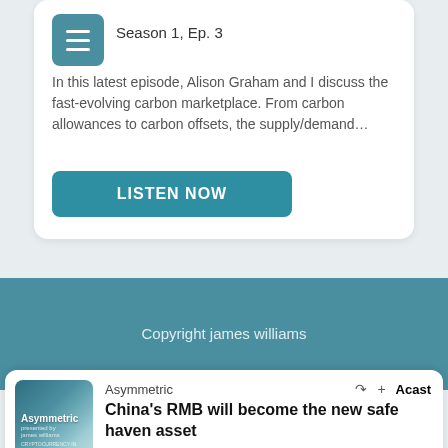Season 1, Ep. 3
In this latest episode, Alison Graham and I discuss the fast-evolving carbon marketplace. From carbon allowances to carbon offsets, the supply/demand…
LISTEN NOW
Copyright james williams
Asymmetric
China's RMB will become the new safe haven asset
March 23, 2022 • 55 min • Listen later
View terms